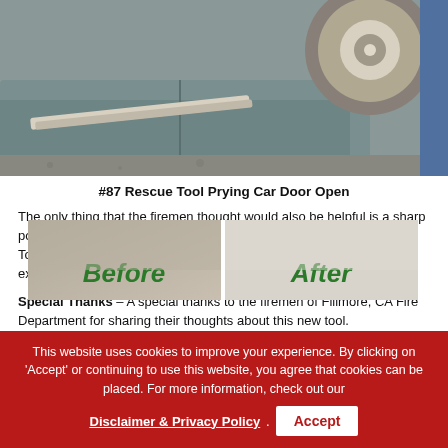[Figure (photo): Photo of a rescue tool prying open a car door, showing the underside of the car with wheel visible]
#87 Rescue Tool Prying Car Door Open
The only thing that the firemen thought would also be helpful is a sharp point for breaking glass. Other than that the #87 Channellock Rescue Tool was great! If you're a first responder, fireman or EMT this tool is extremely useful.
Special Thanks – A special thanks to the firemen of Fillmore, CA Fire Department for sharing their thoughts about this new tool.
[Figure (photo): Before and after comparison photos side by side]
This website uses cookies to improve your experience. By clicking on 'Accept' or continuing to use this website, you agree that cookies can be placed. For more information, check out our Disclaimer & Privacy Policy .